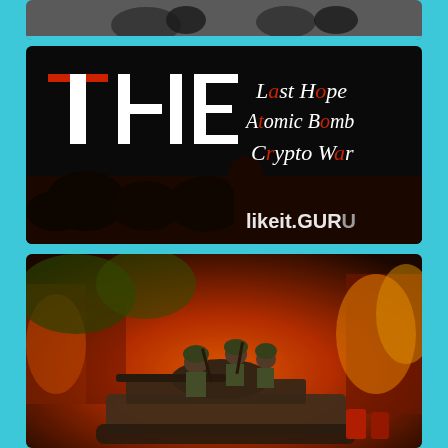[Figure (photo): Partial top image showing dark figures, partially cropped, gaming or military themed]
[Figure (photo): Movie or game promotional image with black background. Large white text 'THE' on the left with red accents, and right side shows text: 'Last Hope', 'Atomic Bomb', 'Crypto War' with silhouette of a soldier. Bottom right watermark: likeit.GURU]
[Figure (photo): Game or movie promotional image showing soldiers riding on a military tank in a burning urban environment with orange fire and smoke background. Tropical vegetation visible.]